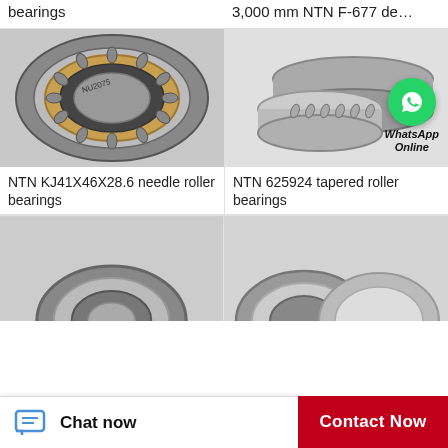bearings
3,000 mm NTN F-677 de…
[Figure (photo): NTN KJ41X46X28.6 needle roller bearing - cylindrical ring bearing with brass cage and roller elements, top view]
NTN KJ41X46X28.6 needle roller bearings
[Figure (photo): NTN 625924 tapered roller bearing - two separated ring components with roller elements, with WhatsApp Online overlay badge]
NTN 625924 tapered roller bearings
[Figure (photo): Partial view of a small deep groove ball bearing with metal shield]
[Figure (photo): Partial view of angular contact or deep groove ball bearings]
Chat now
Contact Now